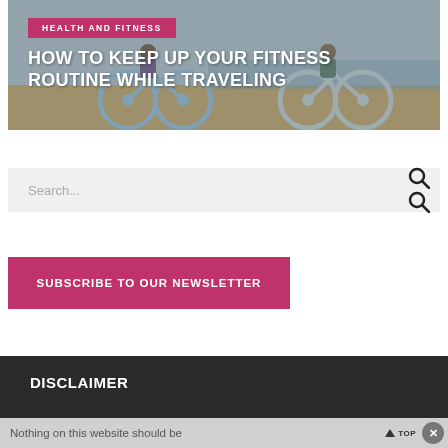[Figure (photo): Hero image showing people riding bicycles on a beach path, with a warm coastal background]
HEALTH AND FITNESS
HOW TO KEEP UP YOUR FITNESS ROUTINE WHILE TRAVELING
Search...
SUBSCRIBE TO OUR NEWSLETTER
DISCLAIMER
Nothing on this website should be